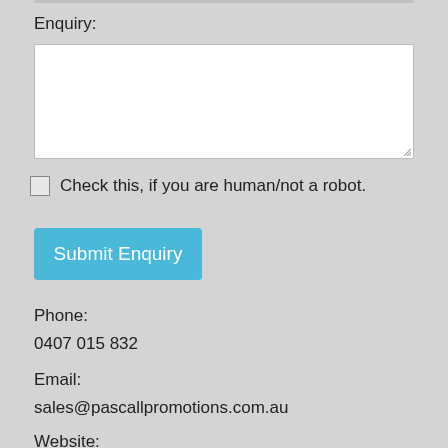Enquiry:
[Figure (other): A white textarea input box with resize handle in the bottom right corner]
Check this, if you are human/not a robot.
Submit Enquiry
Phone:
0407 015 832
Email:
sales@pascallpromotions.com.au
Website: